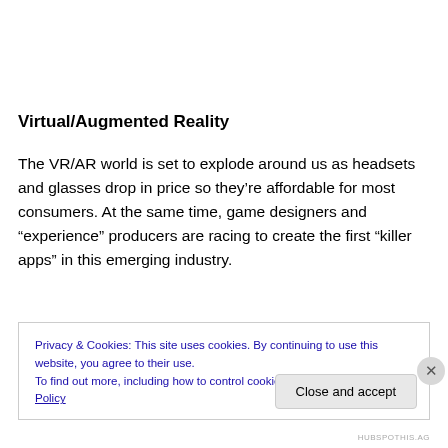Virtual/Augmented Reality
The VR/AR world is set to explode around us as headsets and glasses drop in price so they're affordable for most consumers. At the same time, game designers and “experience” producers are racing to create the first “killer apps” in this emerging industry.
Privacy & Cookies: This site uses cookies. By continuing to use this website, you agree to their use.
To find out more, including how to control cookies, see here: Cookie Policy
Close and accept
HUBSPOTHIS.AG